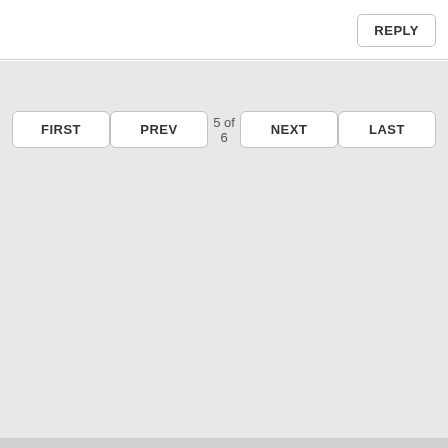REPLY
FIRST
PREV
5 of 6
NEXT
LAST